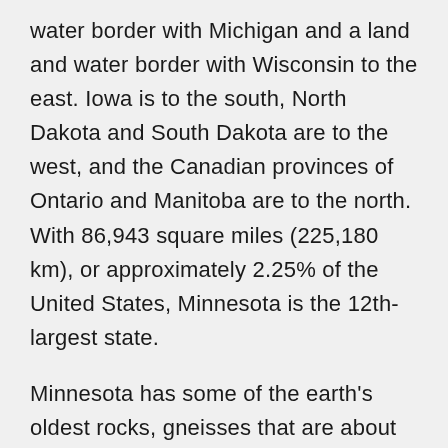water border with Michigan and a land and water border with Wisconsin to the east. Iowa is to the south, North Dakota and South Dakota are to the west, and the Canadian provinces of Ontario and Manitoba are to the north. With 86,943 square miles (225,180 km), or approximately 2.25% of the United States, Minnesota is the 12th-largest state.
Minnesota has some of the earth's oldest rocks, gneisses that are about 3.6 billion years old (80% as old as the planet). About 2.7 billion years ago basaltic lava poured out of cracks in the floor of the primordial ocean; the remains of this volcanic rock formed the Canadian Shield in northeast Minnesota. The roots of these volcanic mountains and the action of Precambrian seas formed the Iron Range of northern Minnesota. Since a period of volcanism 1.1 billion years